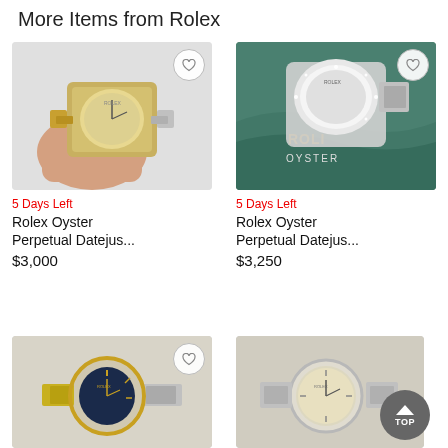More Items from Rolex
[Figure (photo): Hand holding a gold and silver Rolex Oyster Perpetual Datejust watch with jubilee bracelet]
5 Days Left
Rolex Oyster Perpetual Datejus...
$3,000
[Figure (photo): Rolex Oyster Perpetual Datejust watch with diamond bezel on Rolex Oyster branded teal background]
5 Days Left
Rolex Oyster Perpetual Datejus...
$3,250
[Figure (photo): Gold and silver Rolex watch with dark blue/black dial on metal bracelet, partially cropped]
[Figure (photo): Silver Rolex watch with cream/champagne dial on stainless steel bracelet, partially cropped]